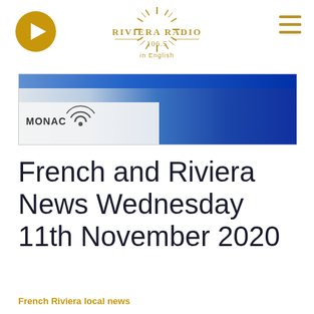[Figure (logo): Riviera Radio 106.5 in English logo with sunburst design in gold]
[Figure (logo): Golden circular play button icon on the left of the header]
[Figure (other): Three horizontal golden lines hamburger menu icon on the right]
[Figure (photo): Monaco banner image with blue gradient and MONACO text with signal wave icon]
French and Riviera News Wednesday 11th November 2020
French Riviera local news